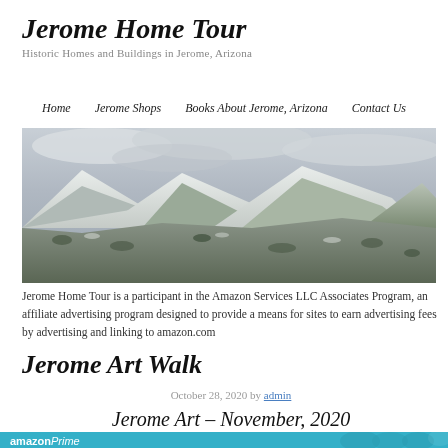Jerome Home Tour
Historic Homes and Buildings in Jerome, Arizona
Home   Jerome Shops   Books About Jerome, Arizona   Contact Us
[Figure (photo): Panoramic photo of snow-dusted mountains and hills near Jerome, Arizona under a cloudy sky]
Jerome Home Tour is a participant in the Amazon Services LLC Associates Program, an affiliate advertising program designed to provide a means for sites to earn advertising fees by advertising and linking to amazon.com
Jerome Art Walk
October 28, 2020 by admin
Jerome Art – November, 2020
[Figure (screenshot): Amazon Prime banner at the bottom of the page]